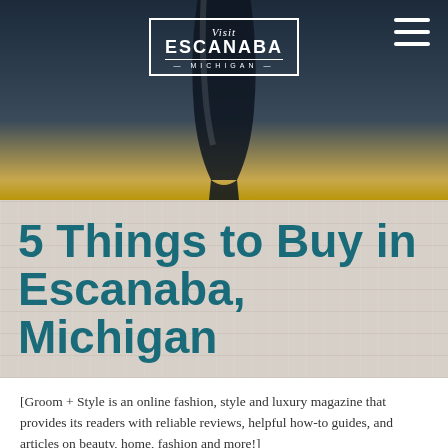[Figure (photo): Hero image showing a dark wine glass or drinking glass in the foreground against a wooden shelf background with dark blue/teal tones. Visit Escanaba Michigan logo centered at top. Hamburger menu icon in top right corner.]
5 Things to Buy in Escanaba, Michigan
[Groom + Style is an online fashion, style and luxury magazine that provides its readers with reliable reviews, helpful how-to guides, and articles on beauty, home, fashion and more!]
Located in Michigan's Upper Peninsula, Escanaba is a charming port city off of Little Bay de Noc in Lake Michigan. Home to just over 12,000 locals,